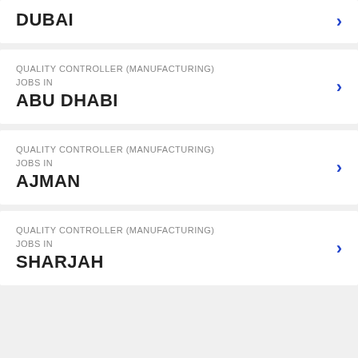DUBAI
QUALITY CONTROLLER (MANUFACTURING) JOBS IN ABU DHABI
QUALITY CONTROLLER (MANUFACTURING) JOBS IN AJMAN
QUALITY CONTROLLER (MANUFACTURING) JOBS IN SHARJAH